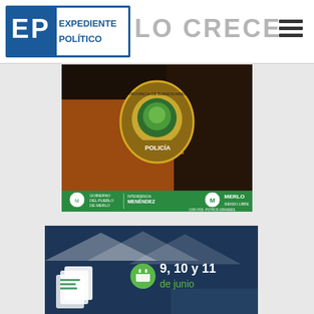[Figure (logo): Expediente Político logo — blue and white EP logo with text EXPEDIENTE POLÍTICO]
LO CRECE
[Figure (other): Hamburger menu icon (three horizontal lines)]
[Figure (photo): Police badge photo showing Buenos Aires Province police uniform patch with Policía badge, with green banner at bottom showing Gobierno del Pueblo de Merlo, Intendencia Menéndez, and Merlo logo]
[Figure (infographic): Event promotional image with dark blue/teal background showing white tent canopy, Merlo logo icon, calendar icon and text '9, 10 y 11 de junio']